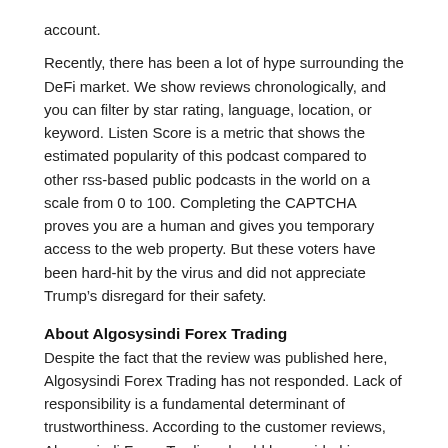account.
Recently, there has been a lot of hype surrounding the DeFi market. We show reviews chronologically, and you can filter by star rating, language, location, or keyword. Listen Score is a metric that shows the estimated popularity of this podcast compared to other rss-based public podcasts in the world on a scale from 0 to 100. Completing the CAPTCHA proves you are a human and gives you temporary access to the web property. But these voters have been hard-hit by the virus and did not appreciate Trump’s disregard for their safety.
About Algosysindi Forex Trading
Despite the fact that the review was published here, Algosysindi Forex Trading has not responded. Lack of responsibility is a fundamental determinant of trustworthiness. According to the customer reviews, Algosysindi Forex Trading should be avoided in any dealings and transactions.